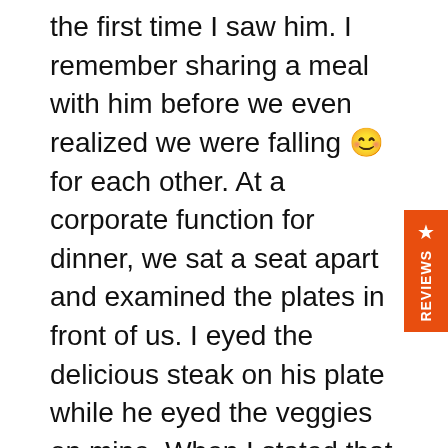the first time I saw him. I remember sharing a meal with him before we even realized we were falling 😊 for each other. At a corporate function for dinner, we sat a seat apart and examined the plates in front of us. I eyed the delicious steak on his plate while he eyed the veggies on mine. When I stated that I didn't care for veggies, he seemed quite shocked and then amazed 😳 at how much meat I consumed with gusto. So, I did the only polite thing I could think of, I offered him my veggies. Then I proceeded to reach over the co-worker between us (HR director 😬 !!) to dish my untouched veggies onto his plate.

I've come a long way since then. With his *ahem* encouragement 😆, I've learnt to really like them. I actually eat salads for lunch now 😳 with a TON of
[Figure (other): Orange vertical REVIEWS tab with star icon on the right side of the page]